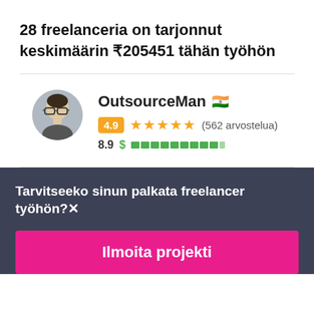28 freelanceria on tarjonnut keskimäärin ₹205451 tähän työhön
OutsourceMan 🇮🇳
4.9 ★★★★★ (562 arvostelua)
8.9 $ ██████████
Tarvitseeko sinun palkata freelancer työhön?
Ilmoita projekti